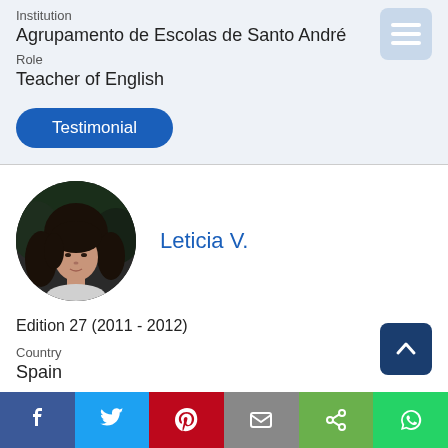Institution
Agrupamento de Escolas de Santo André
Role
Teacher of English
Testimonial
[Figure (photo): Circular profile photo of Leticia V., a woman with long dark hair]
Leticia V.
Edition 27 (2011 - 2012)
Country
Spain
Institution
[Figure (infographic): Social media sharing bar with Facebook, Twitter, Pinterest, Email, Share, and WhatsApp buttons]